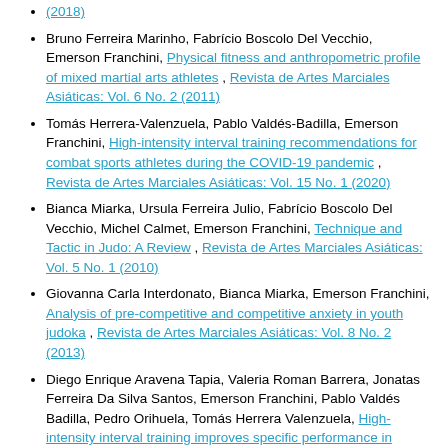Bruno Ferreira Marinho, Fabrício Boscolo Del Vecchio, Emerson Franchini, Physical fitness and anthropometric profile of mixed martial arts athletes , Revista de Artes Marciales Asiáticas: Vol. 6 No. 2 (2011)
Tomás Herrera-Valenzuela, Pablo Valdés-Badilla, Emerson Franchini, High-intensity interval training recommendations for combat sports athletes during the COVID-19 pandemic , Revista de Artes Marciales Asiáticas: Vol. 15 No. 1 (2020)
Bianca Miarka, Ursula Ferreira Julio, Fabrício Boscolo Del Vecchio, Michel Calmet, Emerson Franchini, Technique and Tactic in Judo: A Review , Revista de Artes Marciales Asiáticas: Vol. 5 No. 1 (2010)
Giovanna Carla Interdonato, Bianca Miarka, Emerson Franchini, Analysis of pre-competitive and competitive anxiety in youth judoka , Revista de Artes Marciales Asiáticas: Vol. 8 No. 2 (2013)
Diego Enrique Aravena Tapia, Valeria Roman Barrera, Jonatas Ferreira Da Silva Santos, Emerson Franchini, Pablo Valdés Badilla, Pedro Orihuela, Tomás Herrera Valenzuela, High-intensity interval training improves specific performance in taekwondo athletes , Revista de